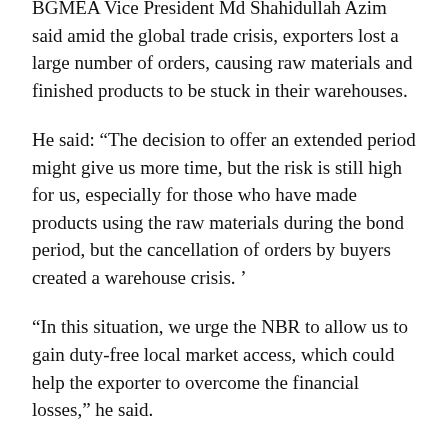BGMEA Vice President Md Shahidullah Azim said amid the global trade crisis, exporters lost a large number of orders, causing raw materials and finished products to be stuck in their warehouses.
He said: “The decision to offer an extended period might give us more time, but the risk is still high for us, especially for those who have made products using the raw materials during the bond period, but the cancellation of orders by buyers created a warehouse crisis. ’
“In this situation, we urge the NBR to allow us to gain duty-free local market access, which could help the exporter to overcome the financial losses,” he said.
“The increase in the number of new Omicron variants in Europe has added risks for exporters to meet the shipment deadline, which could create another crisis for exporters benefiting from bonded warehouse facilities.” , he added.